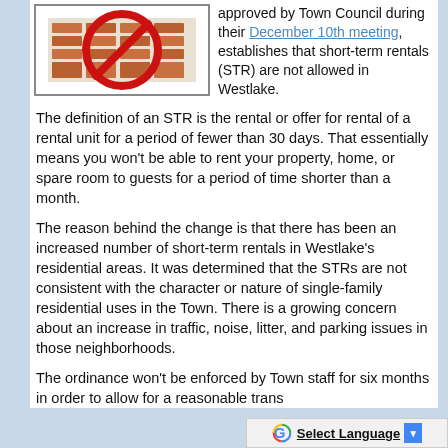[Figure (illustration): A red circle with a diagonal line through it (no symbol), overlaid on an image of a house/building with orange/brown brick appearance — a 'no short-term rentals' prohibition sign.]
approved by Town Council during their December 10th meeting, establishes that short-term rentals (STR) are not allowed in Westlake.
The definition of an STR is the rental or offer for rental of a rental unit for a period of fewer than 30 days. That essentially means you won't be able to rent your property, home, or spare room to guests for a period of time shorter than a month.
The reason behind the change is that there has been an increased number of short-term rentals in Westlake's residential areas. It was determined that the STRs are not consistent with the character or nature of single-family residential uses in the Town. There is a growing concern about an increase in traffic, noise, litter, and parking issues in those neighborhoods.
The ordinance won't be enforced by Town staff for six months in order to allow for a reasonable trans...